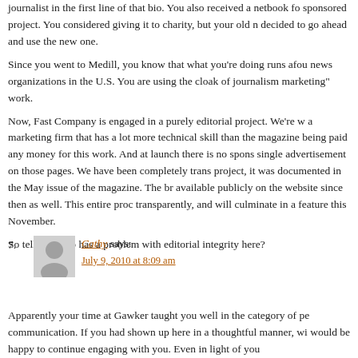journalist in the first line of that bio. You also received a netbook for a sponsored project. You considered giving it to charity, but your old ne decided to go ahead and use the new one.
Since you went to Medill, you know that what you're doing runs afoul of news organizations in the U.S. You are using the cloak of journalism marketing" work.
Now, Fast Company is engaged in a purely editorial project. We're w a marketing firm that has a lot more technical skill than the magazine being paid any money for this work. And at launch there is no sponso single advertisement on those pages. We have been completely trans project, it was documented in the May issue of the magazine. The bri available publicly on the website since then as well. This entire proce transparently, and will culminate in a feature this November.
So tell me: who has a problem with editorial integrity here?
7. Cathy says:
July 9, 2010 at 8:09 am
Apparently your time at Gawker taught you well in the category of pe communication. If you had shown up here in a thoughtful manner, wi would be happy to continue engaging with you. Even in light of you